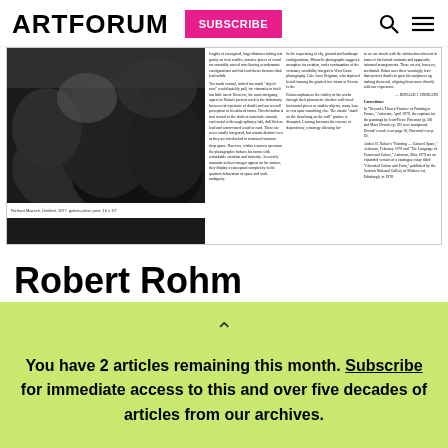ARTFORUM  SUBSCRIBE
[Figure (screenshot): Scanned magazine page showing article text in multiple columns with a black and white photo of rocks/landscape on the left]
Robert Rohm
You have 2 articles remaining this month. Subscribe for immediate access to this and over five decades of articles from our archives.